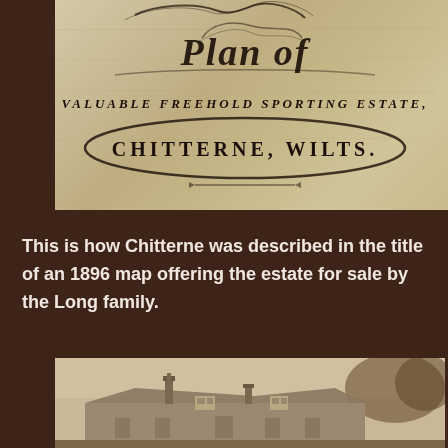[Figure (photo): Sepia-toned photograph of a document title reading 'Plan of VALUABLE FREEHOLD SPORTING ESTATE, CHITTERNE, WILTS.' in ornate Victorian calligraphy on aged parchment]
This is how Chitterne was described in the title of an 1896 map offering the estate for sale by the Long family.
[Figure (photo): Sepia historical photograph showing rooftops and chimneys of a building or estate, with trees visible in the background]